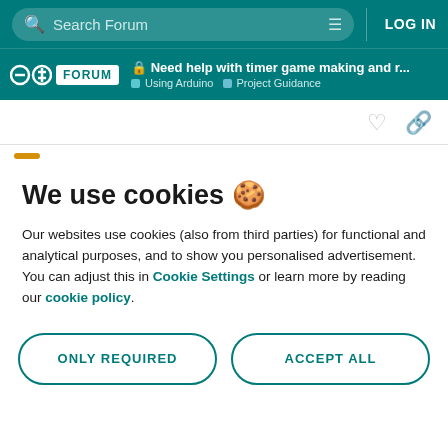Search Forum | LOG IN
Need help with timer game making and r... | Using Arduino | Project Guidance
We use cookies 🍪
Our websites use cookies (also from third parties) for functional and analytical purposes, and to show you personalised advertisement. You can adjust this in Cookie Settings or learn more by reading our cookie policy.
ONLY REQUIRED
ACCEPT ALL